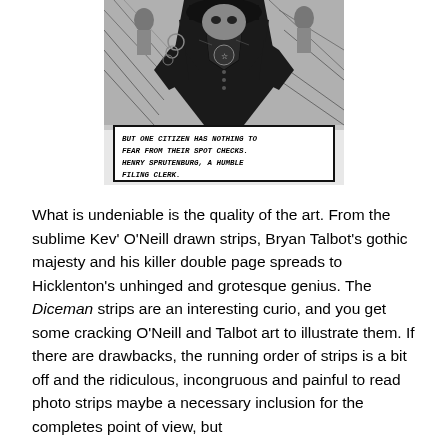[Figure (illustration): Black and white comic book panel showing a dramatic figure (appears to be a villain or authority figure) with a speech bubble reading: 'BUT ONE CITIZEN HAS NOTHING TO FEAR FROM THEIR SPOT CHECKS. HENRY SPRUTENBURG, A HUMBLE FILING CLERK.']
What is undeniable is the quality of the art. From the sublime Kev' O'Neill drawn strips, Bryan Talbot's gothic majesty and his killer double page spreads to Hicklenton's unhinged and grotesque genius. The Diceman strips are an interesting curio, and you get some cracking O'Neill and Talbot art to illustrate them. If there are drawbacks, the running order of strips is a bit off and the ridiculous, incongruous and painful to read photo strips maybe a necessary inclusion for the completes point of view, but